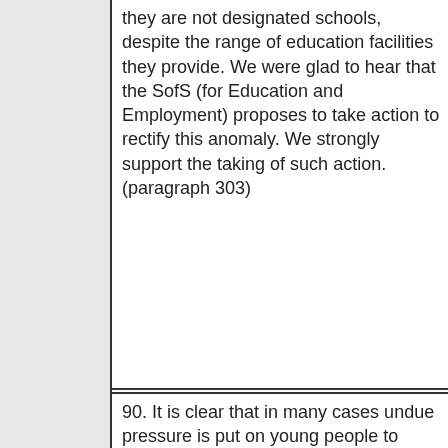they are not designated schools, despite the range of education facilities they provide. We were glad to hear that the SofS (for Education and Employment) proposes to take action to rectify this anomaly. We strongly support the taking of such action. (paragraph 303)
90. It is clear that in many cases undue pressure is put on young people to leave care as soon as they are 16, irrespective of how well or badly prepared they may be for independent living so early in their lives. This should be discouraged. (paragraph 314)